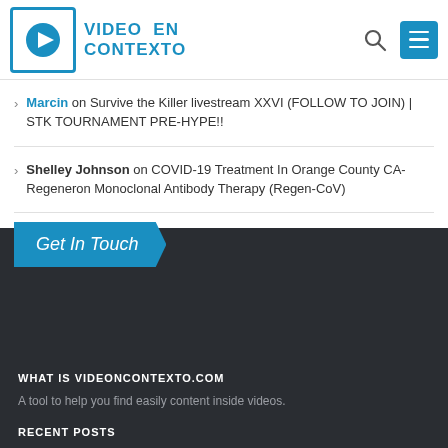[Figure (logo): Video En Contexto logo with play button icon in a square border and blue text]
Marcin on Survive the Killer livestream XXVI (FOLLOW TO JOIN) | STK TOURNAMENT PRE-HYPE!!
Shelley Johnson on COVID-19 Treatment In Orange County CA-Regeneron Monoclonal Antibody Therapy (Regen-CoV)
Paul on URGENT: INTERNATIONAL ZOOM MEETING DELIVERANCE SERVICE REGISTER FOR FREE ❗ ❗ ❗ | PROPHET VC ZITHA LIVE
Get In Touch
WHAT IS VIDEONCONTEXTO.COM
A tool to help you find easily content inside videos.
RECENT POSTS